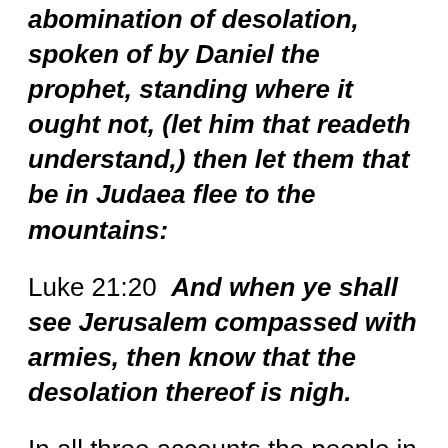abomination of desolation, spoken of by Daniel the prophet, standing where it ought not, (let him that readeth understand,) then let them that be in Judaea flee to the mountains:
Luke 21:20  And when ye shall see Jerusalem compassed with armies, then know that the desolation thereof is nigh.
In all three accounts the people in Judea are commanded to flee to the Mountains,